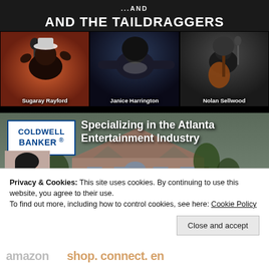[Figure (photo): Concert/band promotional image for '...and The Taildraggers' featuring three performers: Sugaray Rayford (left, Black man singing with hands raised), Janice Harrington (center, Black woman with arms spread wide), and Nolan Sellwood (right, young man playing acoustic guitar)]
[Figure (photo): Coldwell Banker real estate advertisement showing logo, tagline 'Specializing in the Atlanta Entertainment Industry', a large brick house, and a female real estate agent's headshot]
Privacy & Cookies: This site uses cookies. By continuing to use this website, you agree to their use.
To find out more, including how to control cookies, see here: Cookie Policy
Close and accept
amazon   shop. connect. en